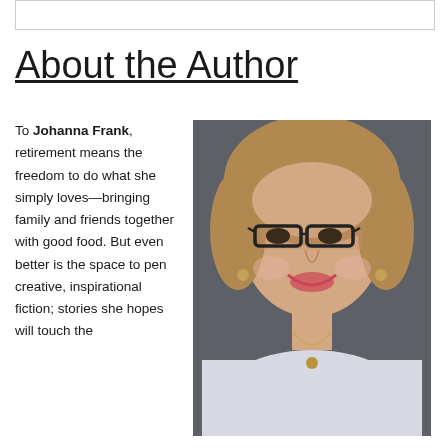About the Author
To Johanna Frank, retirement means the freedom to do what she simply loves—bringing family and friends together with good food. But even better is the space to pen creative, inspirational fiction; stories she hopes will touch the
[Figure (photo): Author photo of Johanna Frank, a woman with curly auburn hair wearing glasses and a light sweater, smiling at the camera against a dark background]